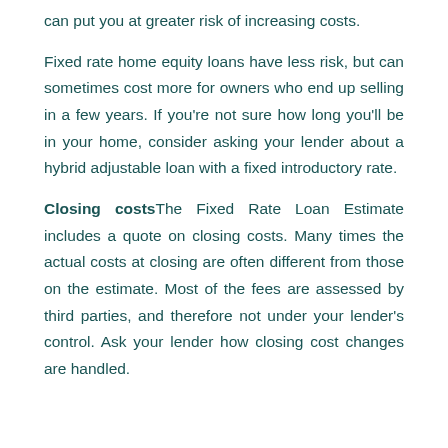can put you at greater risk of increasing costs.
Fixed rate home equity loans have less risk, but can sometimes cost more for owners who end up selling in a few years. If you're not sure how long you'll be in your home, consider asking your lender about a hybrid adjustable loan with a fixed introductory rate.
Closing costsThe Fixed Rate Loan Estimate includes a quote on closing costs. Many times the actual costs at closing are often different from those on the estimate. Most of the fees are assessed by third parties, and therefore not under your lender's control. Ask your lender how closing cost changes are handled.